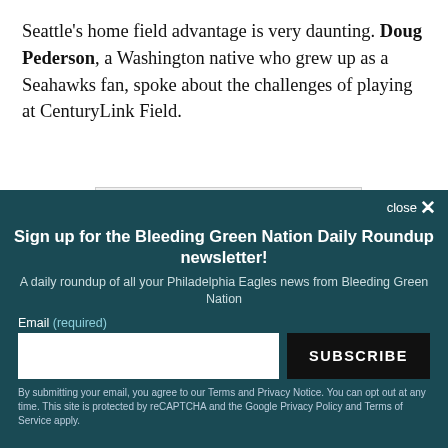Seattle's home field advantage is very daunting. Doug Pederson, a Washington native who grew up as a Seahawks fan, spoke about the challenges of playing at CenturyLink Field.
[Figure (other): Samsung advertisement banner (partially visible, gray background)]
close ×
Sign up for the Bleeding Green Nation Daily Roundup newsletter!
A daily roundup of all your Philadelphia Eagles news from Bleeding Green Nation
Email (required)
SUBSCRIBE
By submitting your email, you agree to our Terms and Privacy Notice. You can opt out at any time. This site is protected by reCAPTCHA and the Google Privacy Policy and Terms of Service apply.